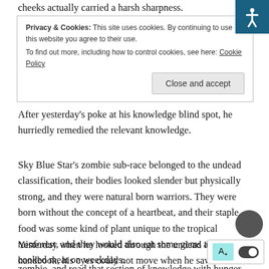cheeks actually carried a harsh sharpness.
Privacy & Cookies: This site uses cookies. By continuing to use this website you agree to their use. To find out more, including how to control cookies, see here: Cookie Policy
Close and accept
After yesterday’s poke at his knowledge blind spot, he hurriedly remedied the relevant knowledge.
Sky Blue Star’s zombie sub-race belonged to the undead classification, their bodies looked slender but physically strong, and they were natural born warriors. They were born without the concept of a heartbeat, and their staple food was some kind of plant unique to the tropical rainforest, and they would also eat some gems and half-cooked meat on weekdays.
Yesterday when he looked through the undead illustrated handbook, his eyes could not move when he saw … It was as if he knew in the dark that the sixth child … zombie, and road that section of knowledge with hunger and